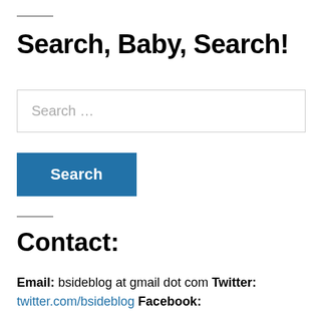Search, Baby, Search!
[Figure (other): Search input box with placeholder text 'Search …']
[Figure (other): Blue Search button]
Contact:
Email: bsideblog at gmail dot com Twitter: twitter.com/bsideblog Facebook: